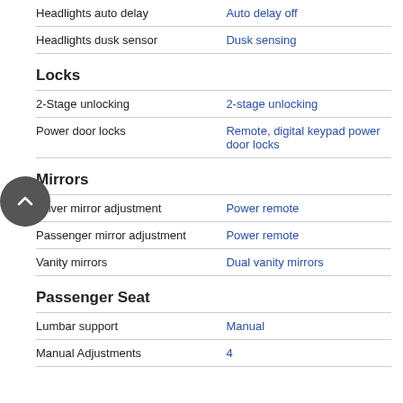| Feature | Value |
| --- | --- |
| Headlights auto delay | Auto delay off |
| Headlights dusk sensor | Dusk sensing |
Locks
| Feature | Value |
| --- | --- |
| 2-Stage unlocking | 2-stage unlocking |
| Power door locks | Remote, digital keypad power door locks |
Mirrors
| Feature | Value |
| --- | --- |
| Driver mirror adjustment | Power remote |
| Passenger mirror adjustment | Power remote |
| Vanity mirrors | Dual vanity mirrors |
Passenger Seat
| Feature | Value |
| --- | --- |
| Lumbar support | Manual |
| Manual Adjustments | 4 |